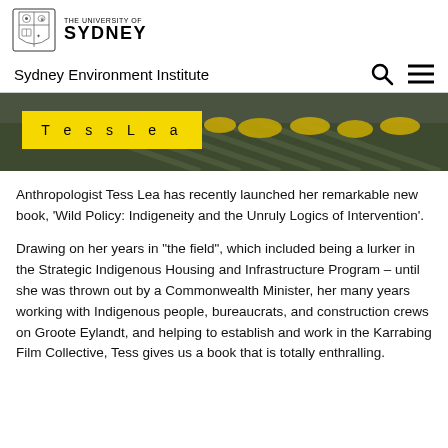[Figure (logo): University of Sydney crest and wordmark logo]
Sydney Environment Institute
[Figure (photo): Aerial landscape photo showing fields with yellow flowering plants and trees, with a yellow label overlay reading 'Tess Lea' in spaced lettering]
Anthropologist Tess Lea has recently launched her remarkable new book, ‘Wild Policy: Indigeneity and the Unruly Logics of Intervention’.
Drawing on her years in “the field”, which included being a lurker in the Strategic Indigenous Housing and Infrastructure Program – until she was thrown out by a Commonwealth Minister, her many years working with Indigenous people, bureaucrats, and construction crews on Groote Eylandt, and helping to establish and work in the Karrabing Film Collective, Tess gives us a book that is totally enthralling.